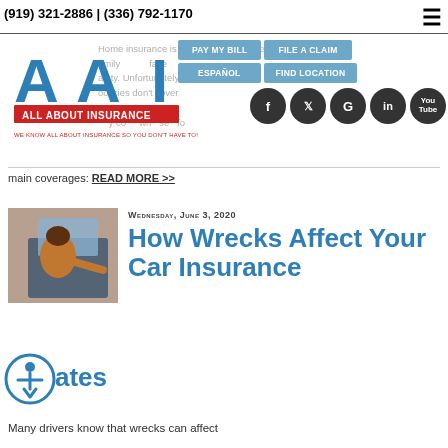(919) 321-2886 | (336) 792-1170
Home insurance is crucial in order to keep family... certainty. Unfortunately, basic policies don't cover... main coverages: READ MORE >>
[Figure (logo): AAI All About Insurance logo with tagline: WE KNOW ALL ABOUT INSURANCE SO YOU DON'T HAVE TO!]
[Figure (infographic): Navigation buttons: PAY MY BILL, FILE A CLAIM, ESPAÑOL, FIND LOCATION, and social media icons: Facebook, Twitter, Google, LinkedIn, YouTube]
Wednesday, June 3, 2020
How Wrecks Affect Your Car Insurance
[Figure (photo): Woman looking into car door, examining damage after a wreck]
ates
Many drivers know that wrecks can affect